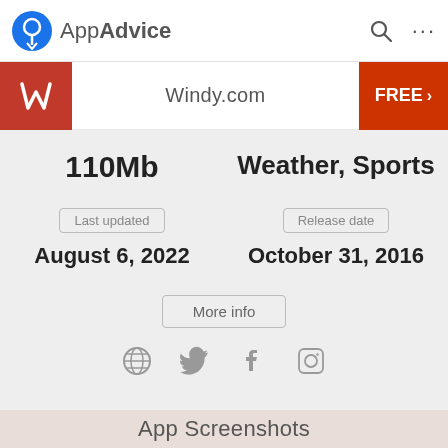AppAdvice
Windy.com
FREE
110Mb
Weather, Sports
Last updated
August 6, 2022
Release date
October 31, 2016
More info
App Screenshots